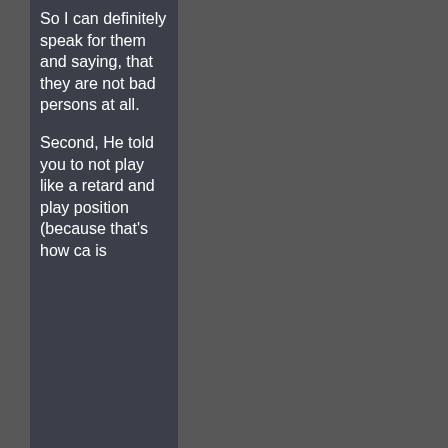So I can definitely speak for them and saying, that they are not bad persons at all.
Second, He told you to not play like a retard and play position (because that's how ca is